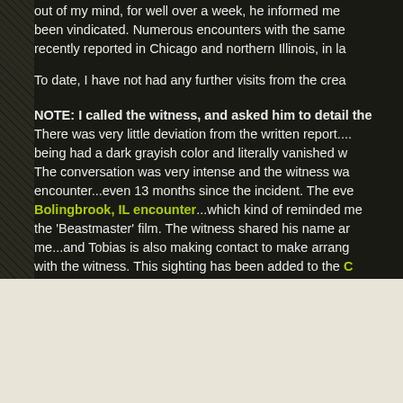out of my mind, for well over a week, he informed me... been vindicated. Numerous encounters with the same... recently reported in Chicago and northern Illinois, in la...
To date, I have not had any further visits from the crea...
NOTE: I called the witness, and asked him to detail the... There was very little deviation from the written report.... being had a dark grayish color and literally vanished w... The conversation was very intense and the witness wa... encounter...even 13 months since the incident. The eve... Bolingbrook, IL encounter...which kind of reminded me... the 'Beastmaster' film. The witness shared his name ar... me...and Tobias is also making contact to make arrang... with the witness. This sighting has been added to the C...